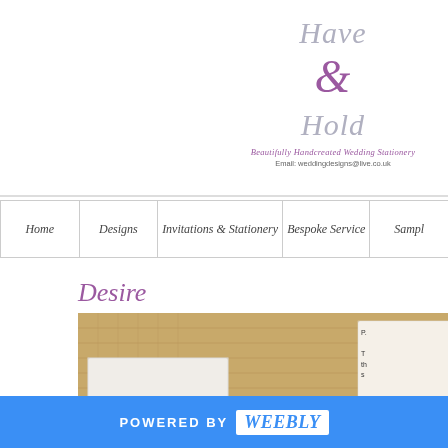[Figure (logo): Have & Hold script logo with ampersand in purple, decorative italic text]
Beautifully Handcreated Wedding Stationery
Email: weddingdesigns@live.co.uk
Home | Designs | Invitations & Stationery | Bespoke Service | Sampl
Desire
[Figure (photo): Wedding invitation cards on burlap background, showing formal invitation text: MR. & MRS. BROWN REQUEST THE PLEASURE OF THE COMPANY OF LISA & RICHARD AT AN EVENING RECEPTION TO CELEBRATE THE MARRIAGE OF THEIR DAUGHTER]
p.

T
th
s
POWERED BY weebly